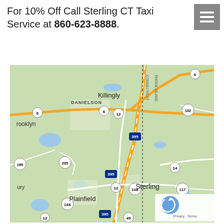For 10% Off Call Sterling CT Taxi Service at 860-623-8888.
[Figure (map): Google Maps showing Sterling, CT area with highways 395, 6, 12, 14, 14A, 102, 117, 169, 205, 49 and towns including Sterling, Danielson, Killingly, Plainfield, Brooklyn. Shows Connecticut border as dotted line.]